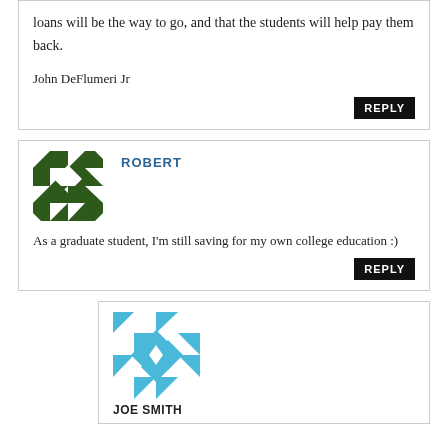loans will be the way to go, and that the students will help pay them back.
John DeFlumeri Jr
REPLY
[Figure (illustration): Green geometric quilt-pattern avatar for user Robert]
ROBERT
As a graduate student, I'm still saving for my own college education :)
REPLY
[Figure (illustration): Blue geometric quilt-pattern avatar for user Joe Smith]
JOE SMITH